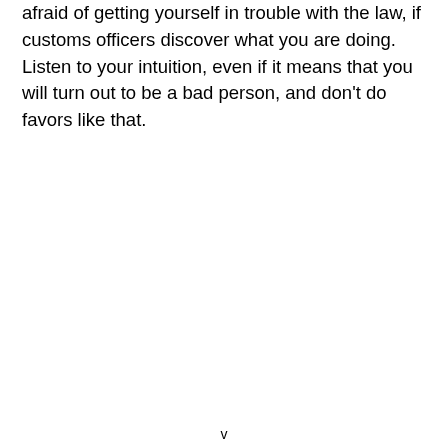afraid of getting yourself in trouble with the law, if customs officers discover what you are doing. Listen to your intuition, even if it means that you will turn out to be a bad person, and don't do favors like that.
v